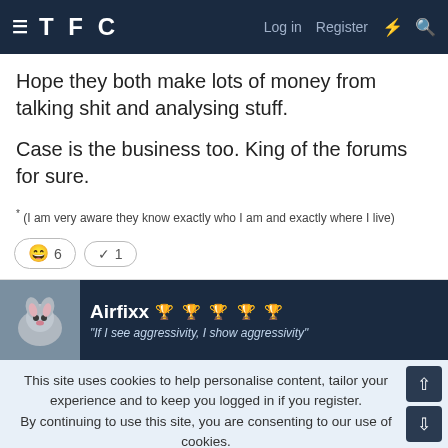TFC  Log in  Register
Hope they both make lots of money from talking shit and analysing stuff.

Case is the business too. King of the forums for sure.
* (I am very aware they know exactly who I am and exactly where I live)
😄 6   ✓ 1
Airfixx 🏆🏆🏆🏆🏆 "If I see aggressivity, I show aggressivity"
This site uses cookies to help personalise content, tailor your experience and to keep you logged in if you register.
By continuing to use this site, you are consenting to our use of cookies.
✓ ACCEPT   LEARN MORE...